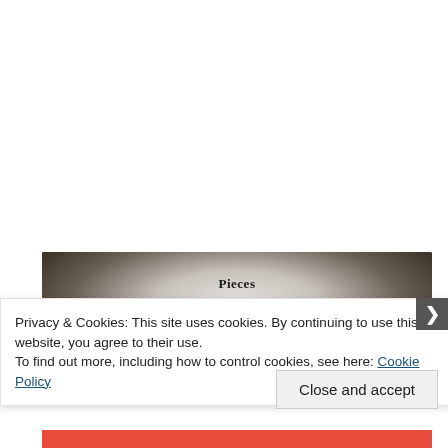[Figure (photo): Dark-bordered book page image showing title 'Pieces' and subtitle text 'A child beaten blue' on a light-centered background with dark vignette edges]
Privacy & Cookies: This site uses cookies. By continuing to use this website, you agree to their use.
To find out more, including how to control cookies, see here: Cookie Policy
Close and accept